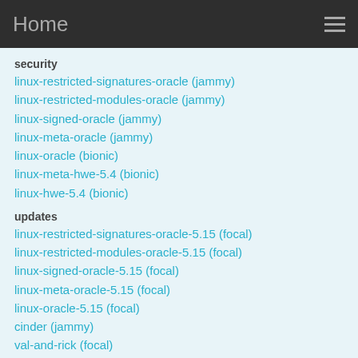Home
security
linux-restricted-signatures-oracle (jammy)
linux-restricted-modules-oracle (jammy)
linux-signed-oracle (jammy)
linux-meta-oracle (jammy)
linux-oracle (bionic)
linux-meta-hwe-5.4 (bionic)
linux-hwe-5.4 (bionic)
updates
linux-restricted-signatures-oracle-5.15 (focal)
linux-restricted-modules-oracle-5.15 (focal)
linux-signed-oracle-5.15 (focal)
linux-meta-oracle-5.15 (focal)
linux-oracle-5.15 (focal)
cinder (jammy)
val-and-rick (focal)
tumiki-fighters (focal)
torus-trooper (focal)
titanion (focal)